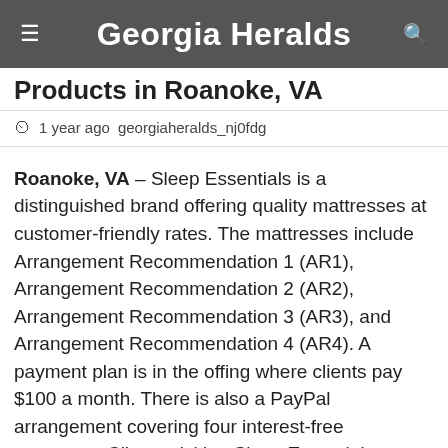Georgia Heralds
Products in Roanoke, VA
1 year ago  georgiaheralds_nj0fdg
Roanoke, VA – Sleep Essentials is a distinguished brand offering quality mattresses at customer-friendly rates. The mattresses include Arrangement Recommendation 1 (AR1), Arrangement Recommendation 2 (AR2), Arrangement Recommendation 3 (AR3), and Arrangement Recommendation 4 (AR4). A payment plan is in the offing where clients pay $100 a month. There is also a PayPal arrangement covering four interest-free payments. Clients visiting Sleep Essentials a mattress store in Roanoke will also find adjustable beds, sheets, beds, mattress foundations, and